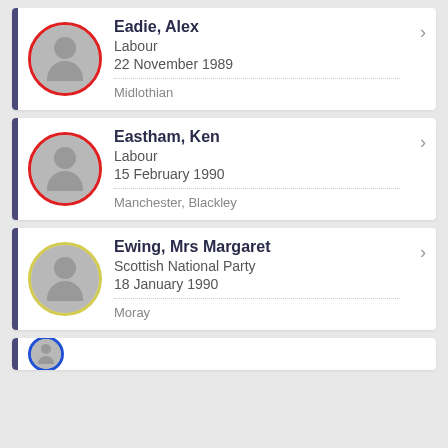Eadie, Alex | Labour | 22 November 1989 | Midlothian
Eastham, Ken | Labour | 15 February 1990 | Manchester, Blackley
Ewing, Mrs Margaret | Scottish National Party | 18 January 1990 | Moray
(partial fourth entry)